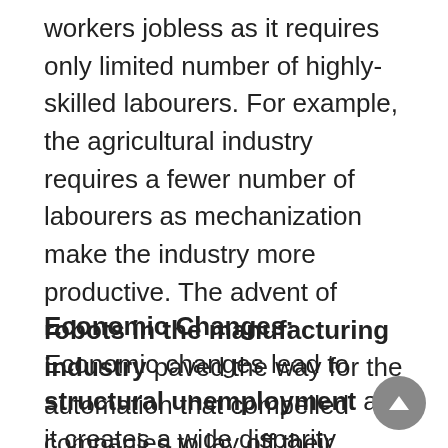workers jobless as it requires only limited number of highly-skilled labourers. For example, the agricultural industry requires a fewer number of labourers as mechanization make the industry more productive. The advent of robots in the manufacturing industry paved the way for the automation that compelled companies to lay off their employees.
Economic Changes: Economic changes lead to structural unemployment as it creates a wide disparity between the skills of labourers and the skills required for a job. For example, Dubai was an oil-rich economy, but now the economy mainly concentrates on tourism. Therefore, the economy